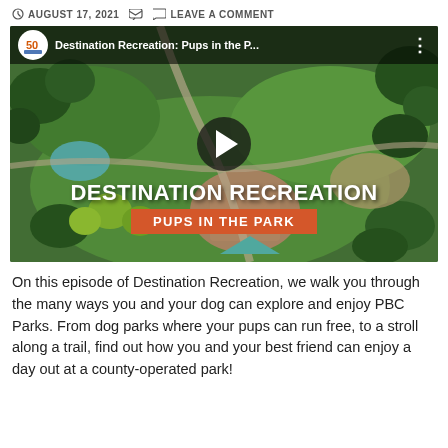AUGUST 17, 2021  LEAVE A COMMENT
[Figure (screenshot): YouTube-style video thumbnail showing aerial view of a park with green fields and trees. Video title bar at top reads 'Destination Recreation: Pups in the P...' with a channel logo. Overlaid text reads 'DESTINATION RECREATION' and an orange banner 'PUPS IN THE PARK'. A play button is centered on the image.]
On this episode of Destination Recreation, we walk you through the many ways you and your dog can explore and enjoy PBC Parks. From dog parks where your pups can run free, to a stroll along a trail, find out how you and your best friend can enjoy a day out at a county-operated park!